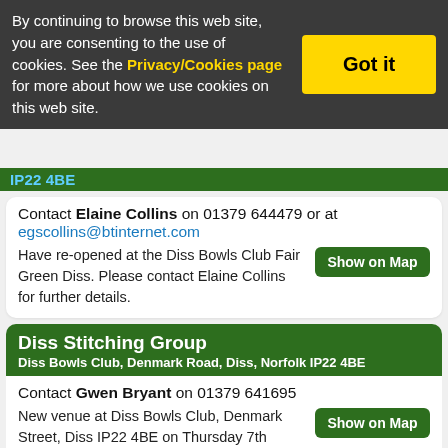By continuing to browse this web site, you are consenting to the use of cookies. See the Privacy/Cookies page for more about how we use cookies on this web site.
Got it
IP22 4BE
Contact Elaine Collins on 01379 644479 or at egscollins@btinternet.com
Have re-opened at the Diss Bowls Club Fair Green Diss. Please contact Elaine Collins for further details.
Diss Stitching Group
Diss Bowls Club, Denmark Road, Diss, Norfolk IP22 4BE
Contact Gwen Bryant on 01379 641695
New venue at Diss Bowls Club, Denmark Street, Diss IP22 4BE on Thursday 7th October. 9.30am-12.30pm. Plenty of parking available. For further details contact Gwen on 01379 641695
Downham Market - Prince Henry Place Knit and Natter